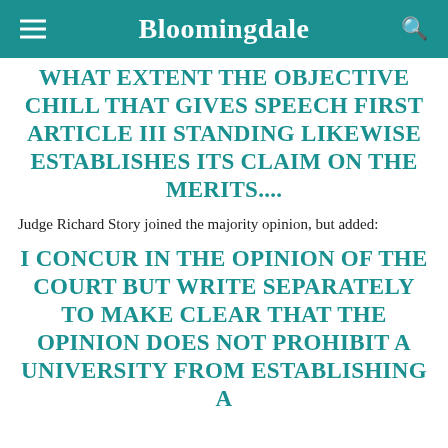Bloomingdale
WHAT EXTENT THE OBJECTIVE CHILL THAT GIVES SPEECH FIRST ARTICLE III STANDING LIKEWISE ESTABLISHES ITS CLAIM ON THE MERITS....
Judge Richard Story joined the majority opinion, but added:
I CONCUR IN THE OPINION OF THE COURT BUT WRITE SEPARATELY TO MAKE CLEAR THAT THE OPINION DOES NOT PROHIBIT A UNIVERSITY FROM ESTABLISHING A